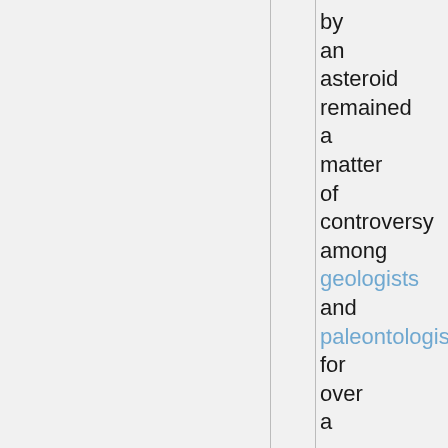by an asteroid remained a matter of controversy among geologists and paleontologists for over a